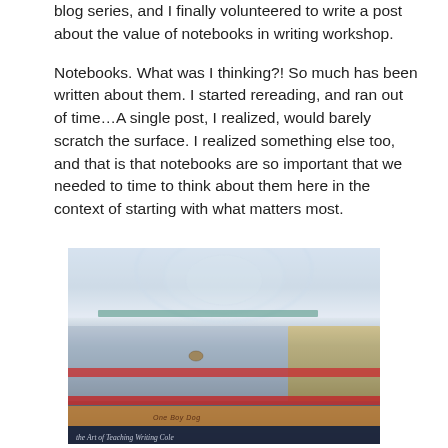blog series, and I finally volunteered to write a post about the value of notebooks in writing workshop.

Notebooks. What was I thinking?! So much has been written about them. I started rereading, and ran out of time…A single post, I realized, would barely scratch the surface. I realized something else too, and that is that notebooks are so important that we needed to time to think about them here in the context of starting with what matters most.
[Figure (photo): Photograph of a stack of colorful notebooks and books with a clear plastic container visible in the background. Notebooks include ones with red, orange, blue, and dark covers. The bottom book shows text related to teaching writing.]